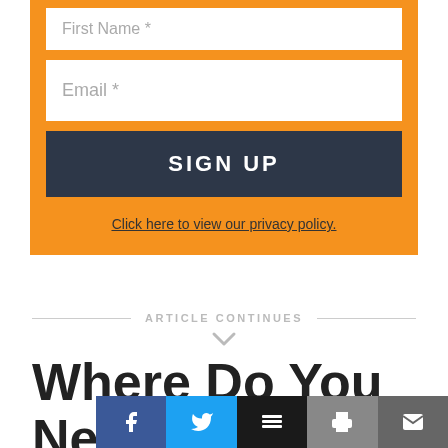[Figure (screenshot): Orange signup form with First Name field (partially visible at top), Email field, dark SIGN UP button, and privacy policy link]
Click here to view our privacy policy.
ARTICLE CONTINUES
Where Do You Need Help?
[Figure (other): Social sharing bar with Facebook, Twitter, Buffer, Print, and Email buttons]